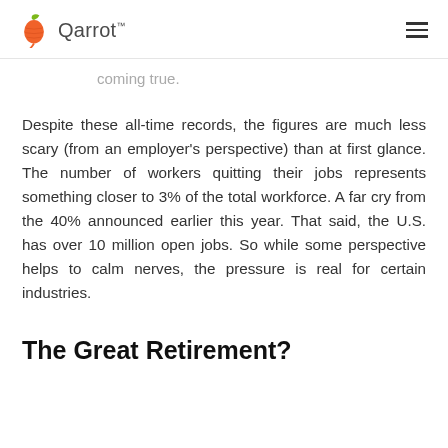Qarrot
coming true.
Despite these all-time records, the figures are much less scary (from an employer's perspective) than at first glance. The number of workers quitting their jobs represents something closer to 3% of the total workforce. A far cry from the 40% announced earlier this year. That said, the U.S. has over 10 million open jobs. So while some perspective helps to calm nerves, the pressure is real for certain industries.
The Great Retirement?